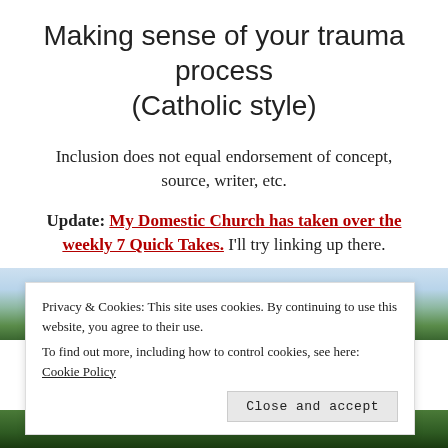Making sense of your trauma process (Catholic style)
Inclusion does not equal endorsement of concept, source, writer, etc.
Update: My Domestic Church has taken over the weekly 7 Quick Takes. I'll try linking up there.
[Figure (photo): Outdoor landscape photo showing trees and sky]
Privacy & Cookies: This site uses cookies. By continuing to use this website, you agree to their use.
To find out more, including how to control cookies, see here: Cookie Policy
[Figure (photo): Outdoor landscape photo showing green trees/vegetation at bottom of page]